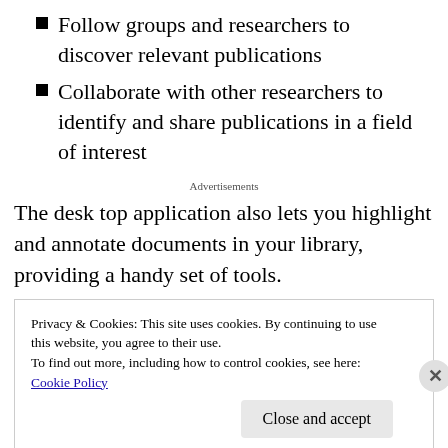Follow groups and researchers to discover relevant publications
Collaborate with other researchers to identify and share publications in a field of interest
Advertisements
The desk top application also lets you highlight and annotate documents in your library, providing a handy set of tools.
Privacy & Cookies: This site uses cookies. By continuing to use this website, you agree to their use.
To find out more, including how to control cookies, see here: Cookie Policy